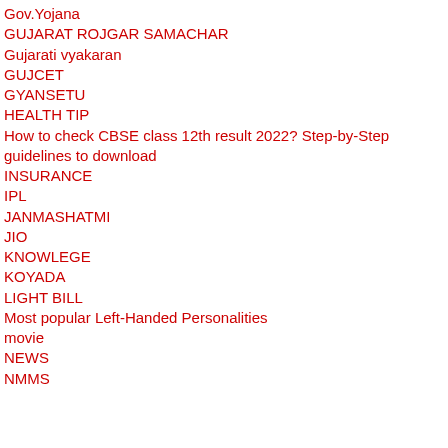Gov.Yojana
GUJARAT ROJGAR SAMACHAR
Gujarati vyakaran
GUJCET
GYANSETU
HEALTH TIP
How to check CBSE class 12th result 2022? Step-by-Step guidelines to download
INSURANCE
IPL
JANMASHATMI
JIO
KNOWLEGE
KOYADA
LIGHT BILL
Most popular Left-Handed Personalities
movie
NEWS
NMMS